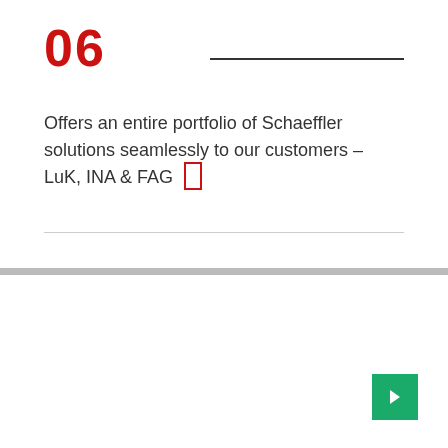06
Offers an entire portfolio of Schaeffler solutions seamlessly to our customers – LuK, INA & FAG
[Figure (other): Green navigation arrow button in bottom right corner]